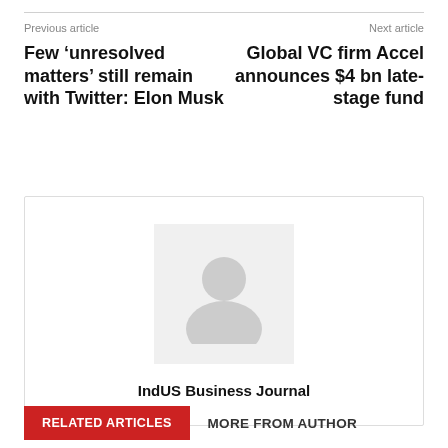Previous article
Next article
Few ‘unresolved matters’ still remain with Twitter: Elon Musk
Global VC firm Accel announces $4 bn late-stage fund
[Figure (logo): IndUS Business Journal logo placeholder with gray icon]
IndUS Business Journal
RELATED ARTICLES
MORE FROM AUTHOR